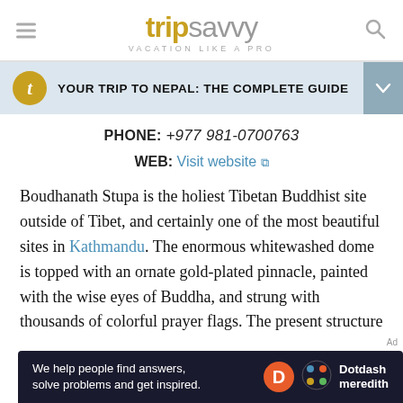[Figure (logo): TripSavvy logo with hamburger menu and search icon. 'trip' in gold/yellow bold, 'savvy' in grey. Tagline: VACATION LIKE A PRO]
YOUR TRIP TO NEPAL: THE COMPLETE GUIDE
PHONE: +977 981-0700763
WEB: Visit website
Boudhanath Stupa is the holiest Tibetan Buddhist site outside of Tibet, and certainly one of the most beautiful sites in Kathmandu. The enormous whitewashed dome is topped with an ornate gold-plated pinnacle, painted with the wise eyes of Buddha, and strung with thousands of colorful prayer flags. The present structure
[Figure (infographic): Dotdash Meredith advertisement banner: dark background, text 'We help people find answers, solve problems and get inspired.' with Dotdash Meredith logo]